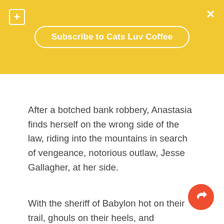[Figure (screenshot): Yellow banner with subscribe button, plus icon top-left, X close icon top-right]
After a botched bank robbery, Anastasia finds herself on the wrong side of the law, riding into the mountains in search of vengeance, notorious outlaw, Jesse Gallagher, at her side.
With the sheriff of Babylon hot on their trail, ghouls on their heels, and werewolves and skin stealing monsters in the mountains, Jesse and Anastasia quickly find out they're outgunned and in for a long night.
It's going to take more than silver bullets to put these monsters down.